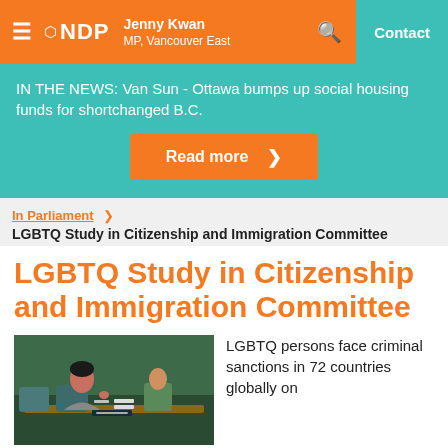NDP — Jenny Kwan, MP, Vancouver East | Contact
IN THE NEWS: Van Sun - Ottawa bumps up social housing funds for shortchanged B.C.
Read more >
In Parliament >
LGBTQ Study in Citizenship and Immigration Committee
LGBTQ Study in Citizenship and Immigration Committee
LGBTQ persons face criminal sanctions in 72 countries globally on